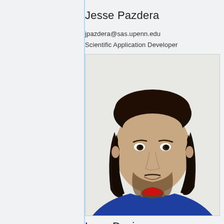Jesse Pazdera
jpazdera@sas.upenn.edu
Scientific Application Developer
[Figure (photo): Headshot photo of Jesse Pazdera, a young man with shoulder-length dark hair and a short beard, wearing a blue shirt with a red collar, photographed against a white background.]
Leon Davis